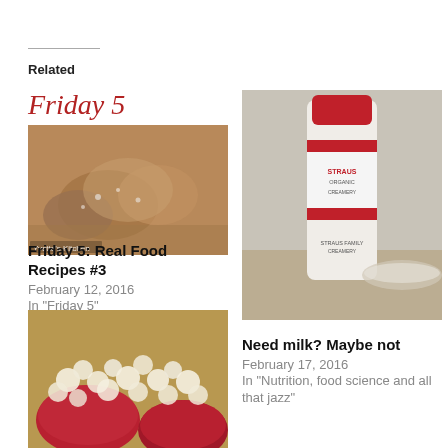Related
[Figure (photo): Friday 5 logo with cursive red text and photo of baked scones/muffins with powdered sugar]
Friday 5: Real Food Recipes #3
February 12, 2016
In "Friday 5"
[Figure (photo): Photo of a Straus Family Creamery organic milk bottle]
Need milk? Maybe not
February 17, 2016
In "Nutrition, food science and all that jazz"
[Figure (photo): Photo of red bowls filled with popcorn]
Welcome back popcorn, how I missed thee